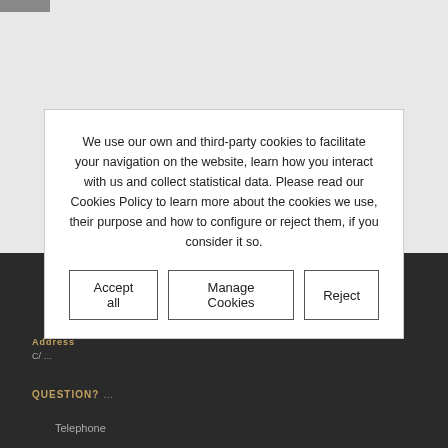[Figure (screenshot): Top navigation bar dark rectangle indicator at top-left]
CONTACT US
Address line (partially obscured by cookie overlay)
QUESTION?
Telephone
We use our own and third-party cookies to facilitate your navigation on the website, learn how you interact with us and collect statistical data. Please read our Cookies Policy to learn more about the cookies we use, their purpose and how to configure or reject them, if you consider it so.
Accept all | Manage Cookies | Reject